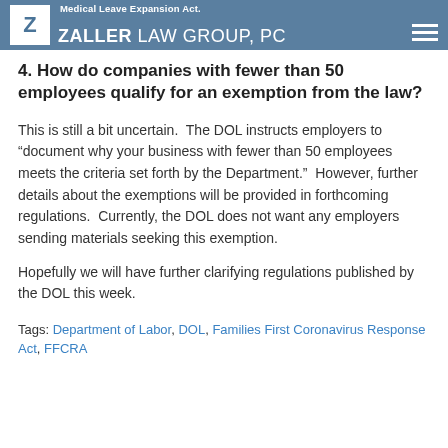Medical Leave Expansion Act. ZALLER LAW GROUP, PC
4. How do companies with fewer than 50 employees qualify for an exemption from the law?
This is still a bit uncertain.  The DOL instructs employers to “document why your business with fewer than 50 employees meets the criteria set forth by the Department.”  However, further details about the exemptions will be provided in forthcoming regulations.  Currently, the DOL does not want any employers sending materials seeking this exemption.
Hopefully we will have further clarifying regulations published by the DOL this week.
Tags: Department of Labor, DOL, Families First Coronavirus Response Act, FFCRA